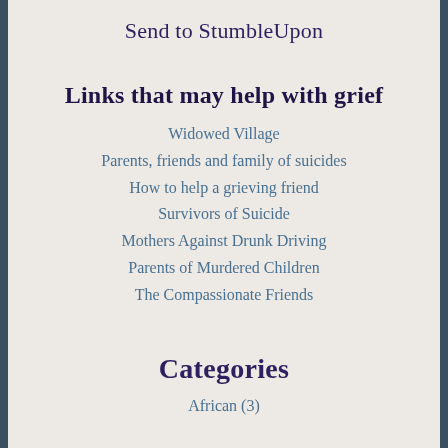Send to StumbleUpon
Links that may help with grief
Widowed Village
Parents, friends and family of suicides
How to help a grieving friend
Survivors of Suicide
Mothers Against Drunk Driving
Parents of Murdered Children
The Compassionate Friends
Categories
African (3)